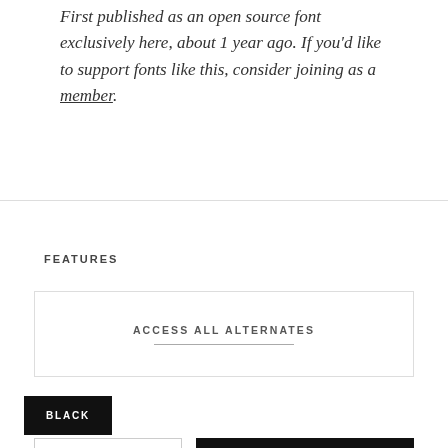First published as an open source font exclusively here, about 1 year ago. If you'd like to support fonts like this, consider joining as a member.
FEATURES
ACCESS ALL ALTERNATES
BLACK
VIEW SOURCE
DOWNLOAD